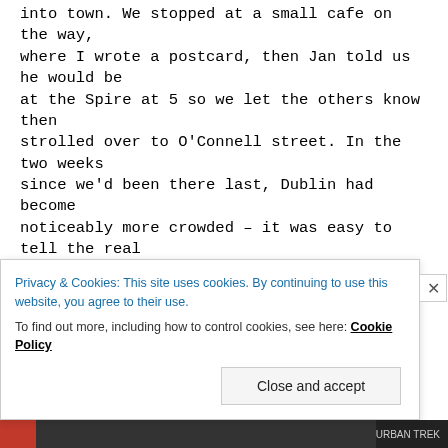into town. We stopped at a small cafe on the way, where I wrote a postcard, then Jan told us he would be at the Spire at 5 so we let the others know then strolled over to O'Connell street. In the two weeks since we'd been there last, Dublin had become noticeably more crowded – it was easy to tell the real high season for tourists was now on its way! After meeting up with the others, we walked around a bit, did some window shopping (I was very good and did not buy anything in the second hand bookshop we went to!) it was off to the pub to meet K's dad and eat our last evening meal in Ireland. The pub was Sweetman's
Privacy & Cookies: This site uses cookies. By continuing to use this website, you agree to their use.
To find out more, including how to control cookies, see here: Cookie Policy
Close and accept